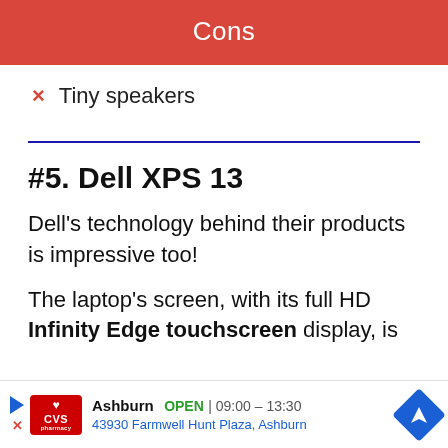Cons
Tiny speakers
#5. Dell XPS 13
Dell's technology behind their products is impressive too!
The laptop's screen, with its full HD Infinity Edge touchscreen display, is
Ashburn OPEN | 09:00 – 13:30 43930 Farmwell Hunt Plaza, Ashburn